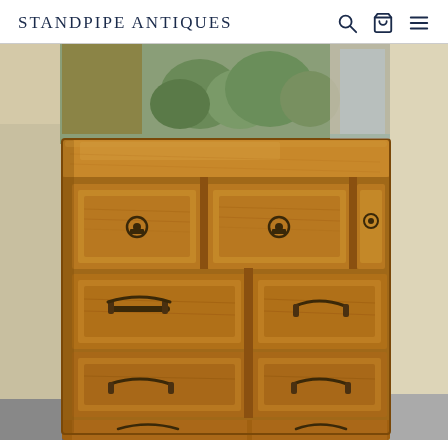STANDPIPE ANTIQUES
[Figure (photo): Photo of a wooden antique dresser/chest of drawers with multiple drawers featuring dark metal ring and bail hardware handles, photographed in what appears to be an antique shop with other furniture visible in the background.]